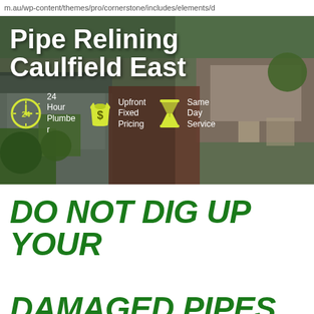m.au/wp-content/themes/pro/cornerstone/includes/elements/d
[Figure (photo): Aerial/drone view of suburban houses and gardens with overlay text 'Pipe Relining Caulfield East' and service icons: 24 Hour Plumber, Upfront Fixed Pricing, Same Day Service]
DO NOT DIG UP YOUR DAMAGED PIPES, RELINE THEM